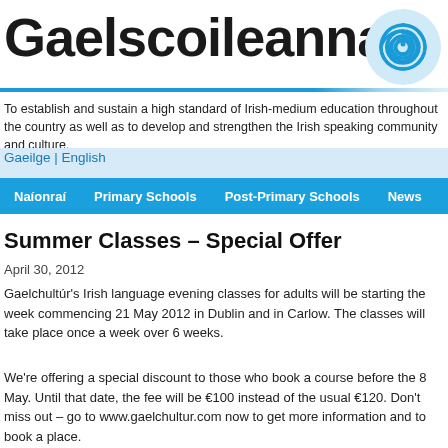[Figure (logo): Gaelscoileanna logo with large bold text and a blue spiral graphic to the right]
To establish and sustain a high standard of Irish-medium education throughout the country as well as to develop and strengthen the Irish speaking community and culture.
Gaeilge | English
Naíonraí | Primary Schools | Post-Primary Schools | News
Summer Classes – Special Offer
April 30, 2012
Gaelchultúr's Irish language evening classes for adults will be starting the week commencing 21 May 2012 in Dublin and in Carlow. The classes will take place once a week over 6 weeks.
We're offering a special discount to those who book a course before the 8 May. Until that date, the fee will be €100 instead of the usual €120. Don't miss out – go to www.gaelchultur.com now to get more information and to book a place.